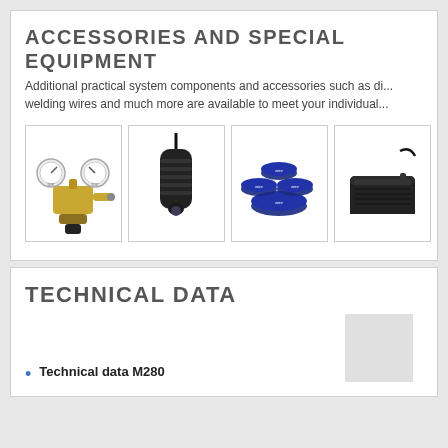ACCESSORIES AND SPECIAL EQUIPMENT
Additional practical system components and accessories such as di... welding wires and much more are available to meet your individual...
[Figure (photo): Gas pressure regulator with two gauges]
[Figure (photo): Black cylindrical torch or handle component]
[Figure (photo): Multiple blue welding wire spools]
[Figure (photo): Black foot pedal/switch with cable]
TECHNICAL DATA
Technical data M280